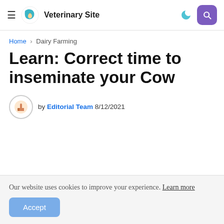Veterinary Site
Home > Dairy Farming
Learn: Correct time to inseminate your Cow
by Editorial Team 8/12/2021
Our website uses cookies to improve your experience. Learn more